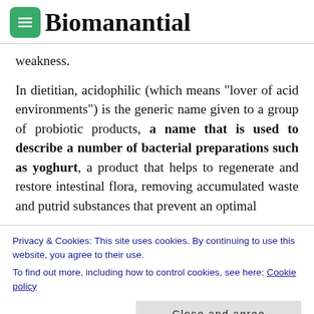Biomanantial
weakness.
In dietitian, acidophilic (which means "lover of acid environments") is the generic name given to a group of probiotic products, a name that is used to describe a number of bacterial preparations such as yoghurt, a product that helps to regenerate and restore intestinal flora, removing accumulated waste and putrid substances that prevent an optimal
Privacy & Cookies: This site uses cookies. By continuing to use this website, you agree to their use.
To find out more, including how to control cookies, see here: Cookie policy
Bifidobacterium   bifidum   and   Streptococcus